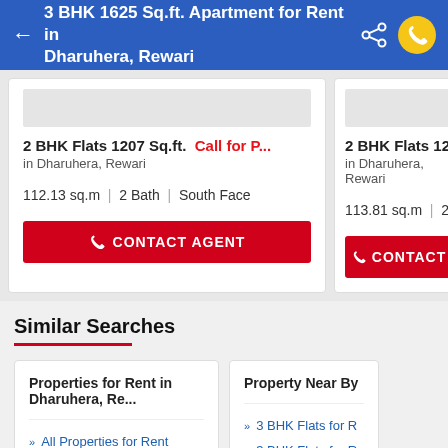3 BHK 1625 Sq.ft. Apartment for Rent in Dharuhera, Rewari
2 BHK Flats 1207 Sq.ft.  Call for P...
in Dharuhera, Rewari
112.13 sq.m  |  2 Bath  |  South Face
2 BHK Flats 1225 Sc
in Dharuhera, Rewari
113.81 sq.m  |  2 Bat
Similar Searches
Properties for Rent in Dharuhera, Re...
All Properties for Rent
2 BHK Flats for Rent
Property Near By
3 BHK Flats for R
3 BHK Flats for R